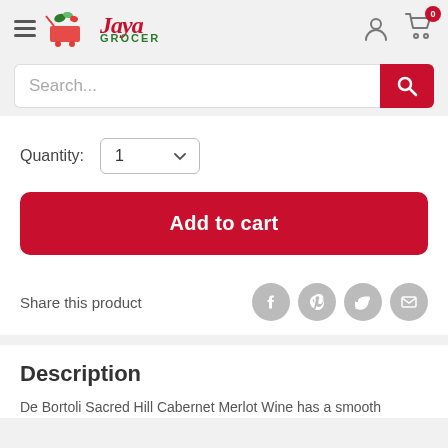Jaya Grocer
Search...
Quantity: 1
Add to cart
Share this product
Description
De Bortoli Sacred Hill Cabernet Merlot Wine has a smooth